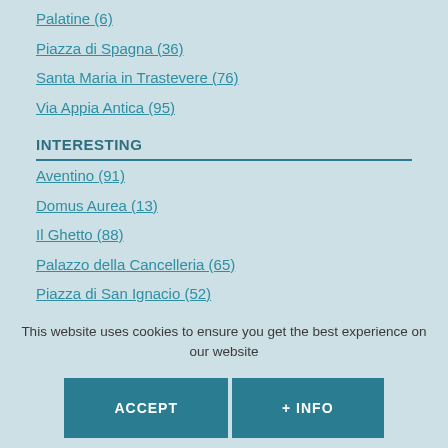Palatine (6)
Piazza di Spagna (36)
Santa Maria in Trastevere (76)
Via Appia Antica (95)
INTERESTING
Aventino (91)
Domus Aurea (13)
Il Ghetto (88)
Palazzo della Cancelleria (65)
Piazza di San Ignacio (52)
San Clemente (14)
This website uses cookies to ensure you get the best experience on our website
ACCEPT
+ INFO